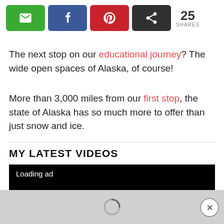[Figure (other): Social share buttons: email (green), Facebook (blue), Pinterest (red), share (dark), and 25 shares count]
The next stop on our educational journey?  The wide open spaces of Alaska, of course!
More than 3,000 miles from our first stop, the state of Alaska has so much more to offer than just snow and ice.
MY LATEST VIDEOS
[Figure (screenshot): Video player showing black screen with 'Loading ad' text, and a gray ad loading bar at the bottom with a spinner and close button]